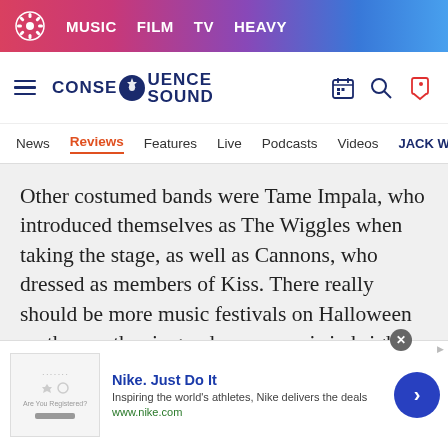MUSIC  FILM  TV  HEAVY
[Figure (logo): Consequence Sound logo with gear icon]
News  Reviews  Features  Live  Podcasts  Videos  JACK W
Other costumed bands were Tame Impala, who introduced themselves as The Wiggles when taking the stage, as well as Cannons, who dressed as members of Kiss. There really should be more music festivals on Halloween — the weather is good, everyone is in bright spirits, and it's a perfect opportunity to express yourself in a very expressive environment.
Nike. Just Do It
Inspiring the world's athletes, Nike delivers the deals
www.nike.com